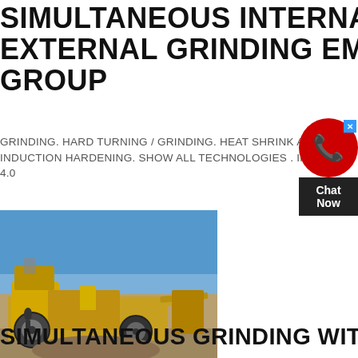SIMULTANEOUS INTERNAL AND EXTERNAL GRINDING EMAG GROUP
GRINDING. HARD TURNING / GRINDING. HEAT SHRINK ASSEMBLY. INDUCTION HARDENING. SHOW ALL TECHNOLOGIES . INDUSTRY 4.0
GET PRICE
[Figure (photo): Yellow industrial grinding/crushing machine equipment on an outdoor site with blue sky background]
SIMULTANEOUS GRINDING WITH